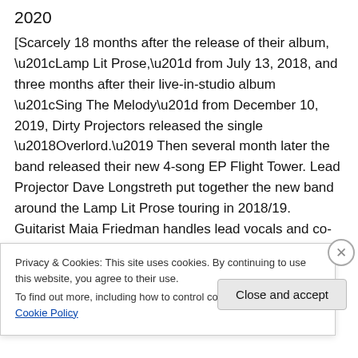2020
[Scarcely 18 months after the release of their album, “Lamp Lit Prose,” from July 13, 2018, and three months after their live-in-studio album “Sing The Melody” from December 10, 2019, Dirty Projectors released the single ‘Overlord.’ Then several month later the band released their new 4-song EP Flight Tower. Lead Projector Dave Longstreth put together the new band around the Lamp Lit Prose touring in 2018/19. Guitarist Maia Friedman handles lead vocals and co-wrote the lyrics with Dave, who wrote
Privacy & Cookies: This site uses cookies. By continuing to use this website, you agree to their use.
To find out more, including how to control cookies, see here: Cookie Policy
Close and accept